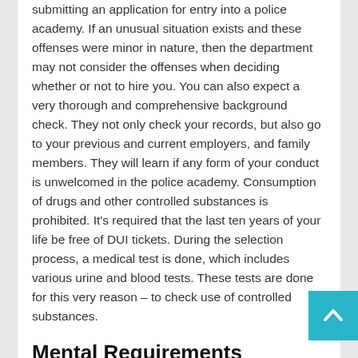submitting an application for entry into a police academy. If an unusual situation exists and these offenses were minor in nature, then the department may not consider the offenses when deciding whether or not to hire you. You can also expect a very thorough and comprehensive background check. They not only check your records, but also go to your previous and current employers, and family members. They will learn if any form of your conduct is unwelcomed in the police academy. Consumption of drugs and other controlled substances is prohibited. It's required that the last ten years of your life be free of DUI tickets. During the selection process, a medical test is done, which includes various urine and blood tests. These tests are done for this very reason – to check use of controlled substances.
Mental Requirements
Law enforcement officers need to be able to withstand hardships. They see a considerable measure of frightful images daily, but it is homicide investigators that expose them the most. They need to have enough mental fortitude to stay strong and keep pursuing their career. They require